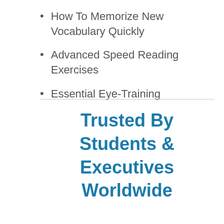How To Memorize New Vocabulary Quickly
Advanced Speed Reading Exercises
Essential Eye-Training
Trusted By Students & Executives Worldwide